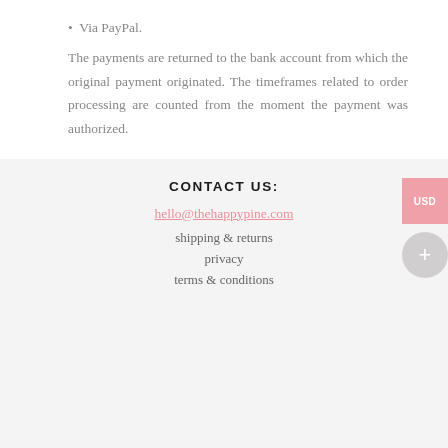Via PayPal.
The payments are returned to the bank account from which the original payment originated. The timeframes related to order processing are counted from the moment the payment was authorized.
CONTACT US:
hello@thehappypine.com
shipping & returns
privacy
terms & conditions